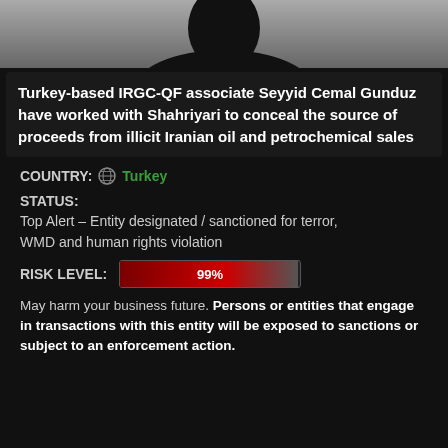[Figure (photo): Silhouette of a person's head/shoulders against a grey background, cropped at top]
Turkey-based IRGC-QF associate Seyyid Cemal Gunduz have worked with Shahriyari to conceal the source of proceeds from illicit Iranian oil and petrochemical sales
COUNTRY: Turkey
STATUS:
Top Alert – Entity designated / sanctioned for terror, WMD and human rights violation
RISK LEVEL: 99%
May harm your business future. Persons or entities that engage in transactions with this entity will be exposed to sanctions or subject to an enforcement action.